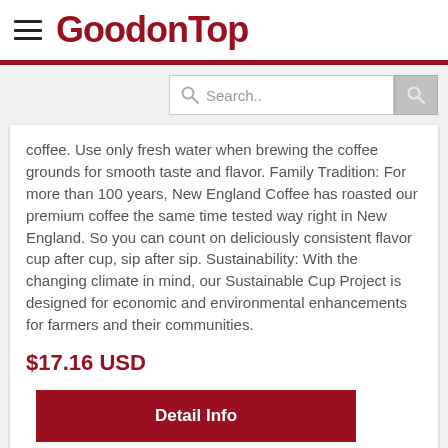GoodonTop
[Figure (screenshot): Search bar with magnifying glass icon and placeholder text 'Search..' and a grey search button]
coffee. Use only fresh water when brewing the coffee grounds for smooth taste and flavor. Family Tradition: For more than 100 years, New England Coffee has roasted our premium coffee the same time tested way right in New England. So you can count on deliciously consistent flavor cup after cup, sip after sip. Sustainability: With the changing climate in mind, our Sustainable Cup Project is designed for economic and environmental enhancements for farmers and their communities.
$17.16 USD
Detail Info